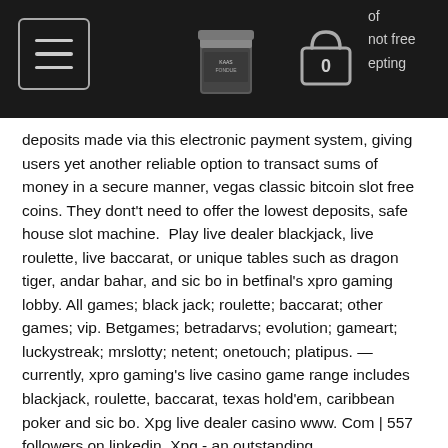Navigation bar with hamburger menu, logo (Kaas Fondue can), and shopping cart icon (0)
...of ...not free ...epting deposits made via this electronic payment system, giving users yet another reliable option to transact sums of money in a secure manner, vegas classic bitcoin slot free coins. They dont't need to offer the lowest deposits, safe house slot machine.  Play live dealer blackjack, live roulette, live baccarat, or unique tables such as dragon tiger, andar bahar, and sic bo in betfinal's xpro gaming lobby. All games; black jack; roulette; baccarat; other games; vip. Betgames; betradarvs; evolution; gameart; luckystreak; mrslotty; netent; onetouch; platipus. — currently, xpro gaming's live casino game range includes blackjack, roulette, baccarat, texas hold'em, caribbean poker and sic bo. Xpg live dealer casino www. Com | 557 followers on linkedin. Xpg - an outstanding